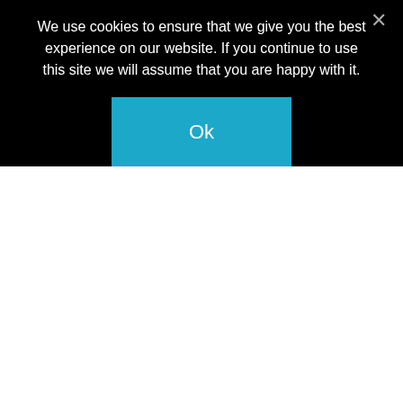We use cookies to ensure that we give you the best experience on our website. If you continue to use this site we will assume that you are happy with it.
[Figure (screenshot): Cookie consent dialog overlay with black background, cookie notice text in white, a teal 'Ok' button, and a gray X close button in top right corner.]